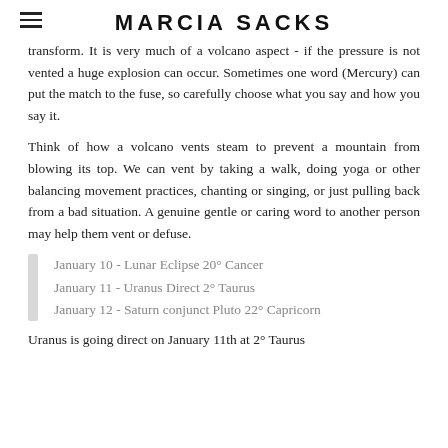MARCIA SACKS
transform. It is very much of a volcano aspect - if the pressure is not vented a huge explosion can occur. Sometimes one word (Mercury) can put the match to the fuse, so carefully choose what you say and how you say it.
Think of how a volcano vents steam to prevent a mountain from blowing its top. We can vent by taking a walk, doing yoga or other balancing movement practices, chanting or singing, or just pulling back from a bad situation. A genuine gentle or caring word to another person may help them vent or defuse.
January 10 - Lunar Eclipse 20° Cancer
January 11 - Uranus Direct 2° Taurus
January 12 - Saturn conjunct Pluto 22° Capricorn
Uranus is going direct on January 11th at 2° Taurus